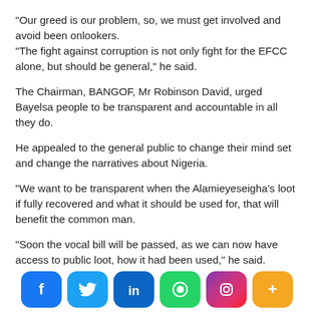“Our greed is our problem, so, we must get involved and avoid been onlookers. “The fight against corruption is not only fight for the EFCC alone, but should be general,” he said.
The Chairman, BANGOF, Mr Robinson David, urged Bayelsa people to be transparent and accountable in all they do.
He appealed to the general public to change their mind set and change the narratives about Nigeria.
“We want to be transparent when the Alamieyeseigha’s loot if fully recovered and what it should be used for, that will benefit the common man.
“Soon the vocal bill will be passed, as we can now have access to public loot, how it had been used,” he said.
[Figure (infographic): Social media sharing buttons: Facebook (blue rounded rectangle), Twitter (light blue rounded rectangle), LinkedIn (dark blue rounded rectangle), WhatsApp (green rounded rectangle), Instagram (gradient purple-pink rounded rectangle), More/Plus (orange rounded rectangle)]